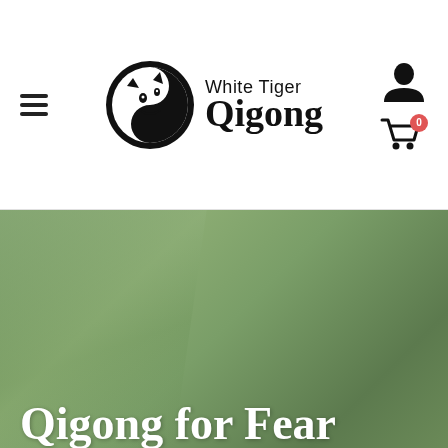White Tiger Qigong navigation bar with hamburger menu, logo, and cart icon
[Figure (logo): White Tiger Qigong logo: circular emblem with tiger motif and text 'White Tiger Qigong']
[Figure (photo): Green nature/plant background hero image]
Qigong for Fear